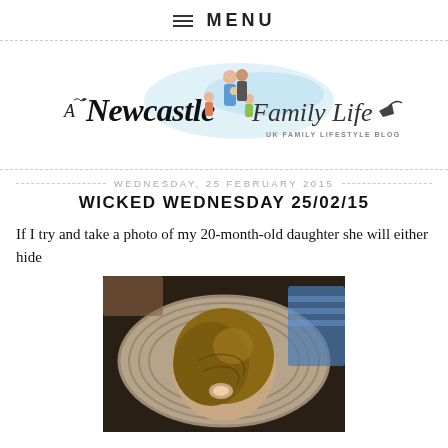≡ MENU
[Figure (logo): A Newcastle Family Life blog logo with illustrated family figures and cursive/decorative text. Tagline: UK FAMILY LIFESTYLE BLOG]
WEDNESDAY, 25 FEBRUARY 2015
WICKED WEDNESDAY 25/02/15
If I try and take a photo of my 20-month-old daughter she will either hide
[Figure (photo): A photograph showing the back of a young toddler's head with light brown hair, resting on a striped pillow/cushion. There are colorful items visible in the background.]